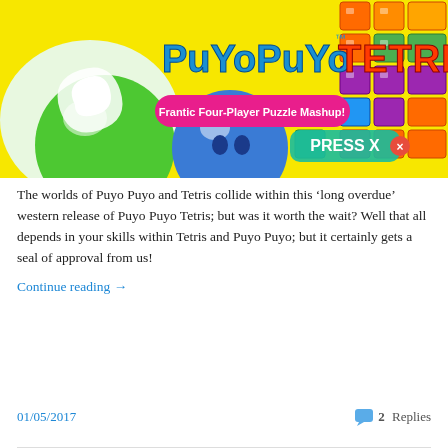[Figure (screenshot): Puyo Puyo Tetris game title screen showing colorful Puyo characters and Tetris blocks on a yellow background with text 'Frantic Four-Player Puzzle Mashup!' and 'PRESS X']
The worlds of Puyo Puyo and Tetris collide within this ‘long overdue’ western release of Puyo Puyo Tetris; but was it worth the wait? Well that all depends in your skills within Tetris and Puyo Puyo; but it certainly gets a seal of approval from us!
Continue reading →
01/05/2017   2 Replies